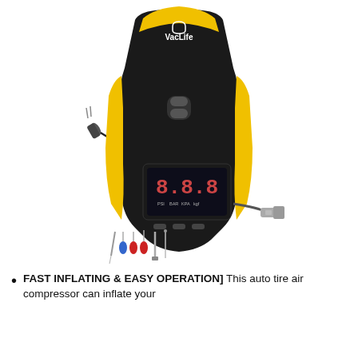[Figure (photo): VacLife portable tire inflator / air compressor with yellow and black casing, digital display showing 8.8.8, PSI BAR KPA unit selector buttons, car cigarette lighter plug cable on left, air hose with inflation nozzle on right, and accessories (needle adapters, cone adapters, extension tube) laid in front.]
FAST INFLATING & EASY OPERATION] This auto tire air compressor can inflate your